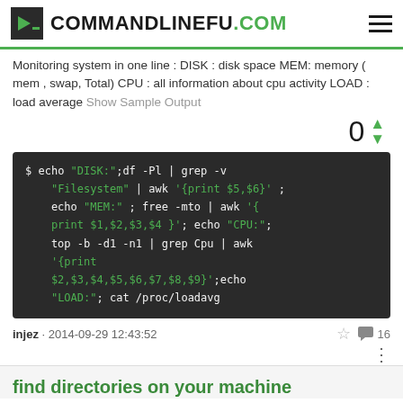COMMANDLINEFU.COM
Monitoring system in one line : DISK : disk space MEM: memory ( mem , swap, Total) CPU : all information about cpu activity LOAD : load average Show Sample Output
[Figure (screenshot): Terminal code block showing a shell command for monitoring system resources including disk, memory, CPU, and load average]
injez · 2014-09-29 12:43:52  ☆  💬 16
find directories on your machine